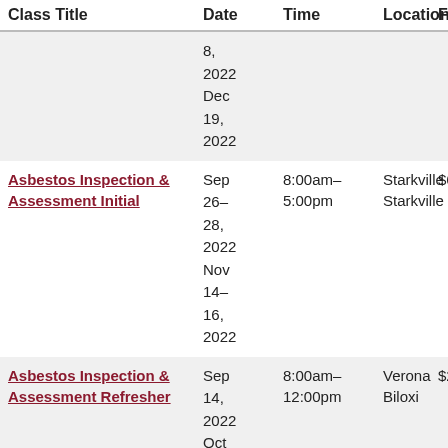| Class Title | Date | Time | Location | Fee |
| --- | --- | --- | --- | --- |
|  | 8,
2022
Dec
19,
2022 |  |  |  |
| Asbestos Inspection &
Assessment Initial | Sep
26–
28,
2022
Nov
14–
16,
2022 | 8:00am–
5:00pm | Starkville
Starkville | $6 |
| Asbestos Inspection &
Assessment Refresher | Sep
14,
2022
Oct
18 | 8:00am–
12:00pm | Verona
Biloxi | $2 |